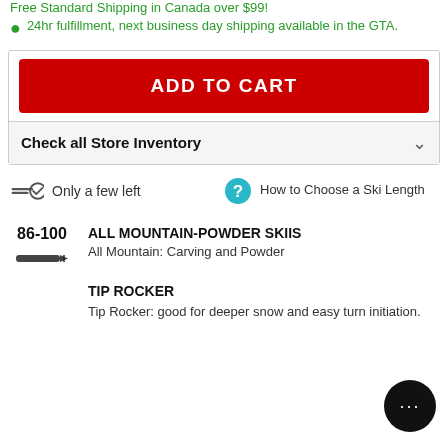Free Standard Shipping in Canada over $99!
24hr fulfillment, next business day shipping available in the GTA.
ADD TO CART
Check all Store Inventory
Only a few left
How to Choose a Ski Length
86-100
ALL MOUNTAIN-POWDER SKIIS
All Mountain: Carving and Powder
TIP ROCKER
Tip Rocker: good for deeper snow and easy turn initiation.